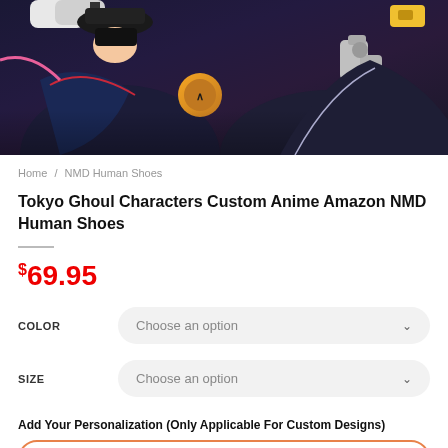[Figure (photo): Anime product image showing Tokyo Ghoul characters, colorful illustration with dark blue and orange tones]
Home / NMD Human Shoes
Tokyo Ghoul Characters Custom Anime Amazon NMD Human Shoes
$69.95
COLOR    Choose an option
SIZE    Choose an option
Add Your Personalization (Only Applicable For Custom Designs)